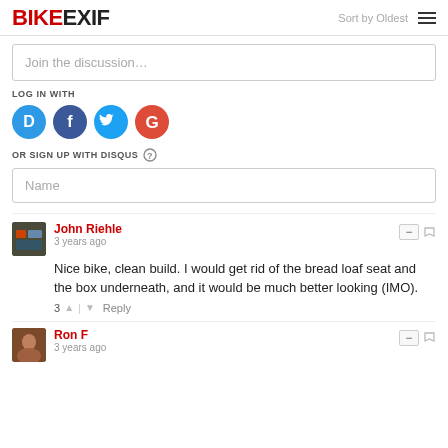BIKEEXIF | Sort by Oldest | Menu
Join the discussion…
LOG IN WITH
[Figure (infographic): Social login icons: Disqus (blue circle with D), Facebook (dark blue circle with f), Twitter (light blue circle with bird), Google (red circle with G)]
OR SIGN UP WITH DISQUS ?
Name
John Riehle
3 years ago
Nice bike, clean build. I would get rid of the bread loaf seat and the box underneath, and it would be much better looking (IMO).
3 ↑ | ↓ Reply
Ron F
3 years ago